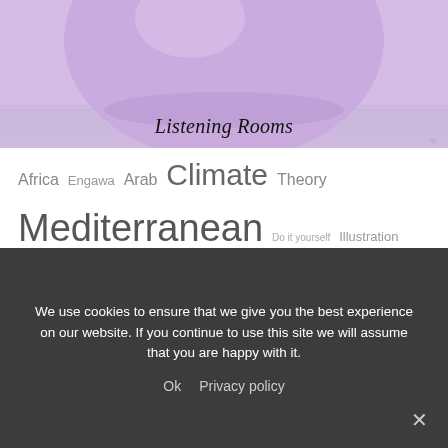[Figure (photo): A large lavender/purple balloon against a light wooden floor background, filling the upper portion of the image. Text overlay reads 'Listening Rooms' in italic serif font.]
Listening Rooms
Africa Engawa Arab Climate Theory Mediterranean Do it yourself Illustration skylight Landscape roofing Forgotten Infraestructure Circulation Streets on the Sky Soviet Architecture Domestic dome infraestructure Baroque Structure Detail Exhibition Marta López García competition Verticalism Garden Interior Infraestructure Stone Metabolism Lighting Urbanism geometry Modernism wood Plastic Post-Modernism Scultion Bridge ... Tradition ...
We use cookies to ensure that we give you the best experience on our website. If you continue to use this site we will assume that you are happy with it.
Ok  Privacy policy